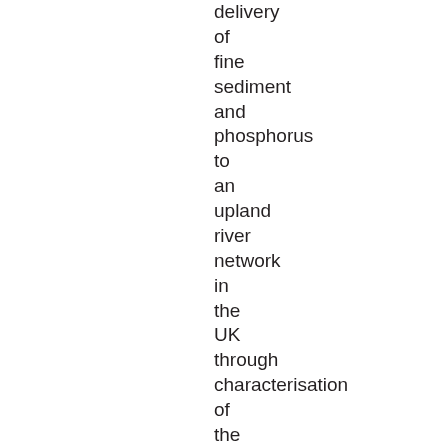delivery of fine sediment and phosphorus to an upland river network in the UK through characterisation of the temporal variability of hydrological